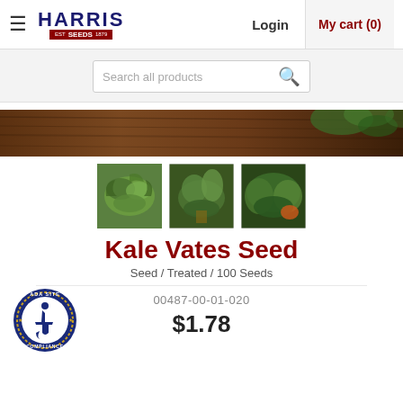≡  HARRIS SEEDS  Login  My cart (0)
Search all products
[Figure (photo): Banner showing kale leaves on a wooden table background]
[Figure (photo): Three product thumbnail images of kale/vegetables]
Kale Vates Seed
Seed / Treated / 100 Seeds
00487-00-01-020
$1.78
[Figure (logo): ADA Site Compliance badge with wheelchair icon]